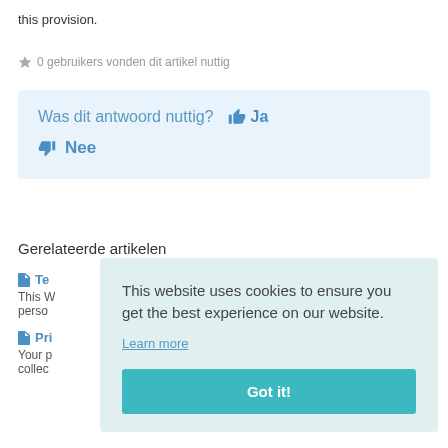this provision.
0 gebruikers vonden dit artikel nuttig
Was dit antwoord nuttig? 👍 Ja 👎 Nee
Gerelateerde artikelen
Te... This W... perso...
Pri... Your p... collec...
This website uses cookies to ensure you get the best experience on our website. Learn more
Got it!